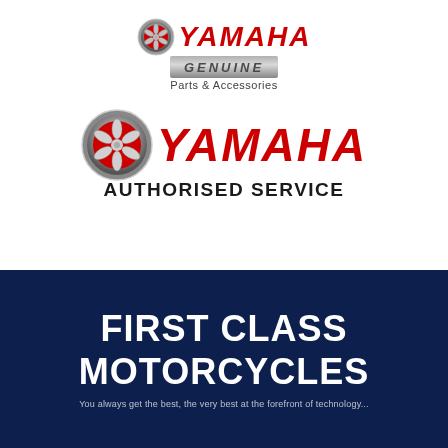[Figure (logo): Yamaha Genuine Parts & Accessories logo with tuning fork emblem, red YAMAHA text, silver GENUINE badge, and 'Parts & Accessories' text]
[Figure (logo): Yamaha Authorised Service logo with large tuning fork emblem, red YAMAHA text, and black AUTHORISED SERVICE text]
FIRST CLASS MOTORCYCLES
You always get the best, the very best at the forefront of technology...